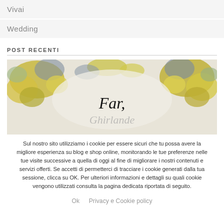Vivai
Wedding
POST RECENTI
[Figure (photo): Photo of a floral wreath with yellow and purple dried flowers on a light background, with cursive handwritten text overlay reading 'Far' and decorative script text 'Ghirlande']
Sul nostro sito utilizziamo i cookie per essere sicuri che tu possa avere la migliore esperienza su blog e shop online, monitorando le tue preferenze nelle tue visite successive a quella di oggi al fine di migliorare i nostri contenuti e servizi offerti. Se accetti di permetterci di tracciare i cookie generati dalla tua sessione, clicca su OK. Per ulteriori informazioni e dettagli su quali cookie vengono utilizzati consulta la pagina dedicata riportata di seguito.
Ok   Privacy e Cookie policy